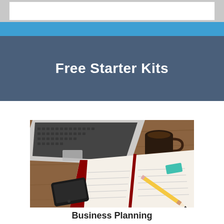Free Starter Kits
[Figure (photo): Top-down view of a wooden desk with a laptop computer, open notebook, pencil, teal eraser, black smartphone, and a dark coffee mug on a wooden surface.]
Business Planning